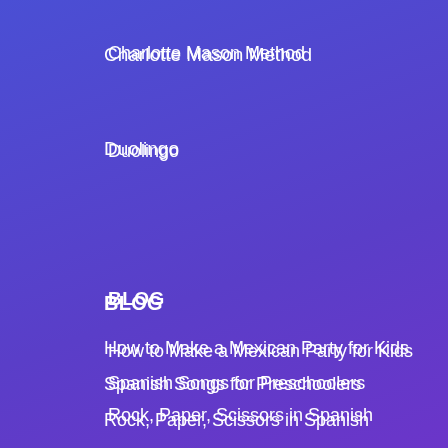Charlotte Mason Method
Duolingo
BLOG
How to Make a Mexican Party for Kids
Spanish Songs for Preschoolers
Rock, Paper, Scissors in Spanish
LOCAL SPANISH IMMERSION PROGRAMS
Austin Spanish Programs
Dallas Spanish Programs